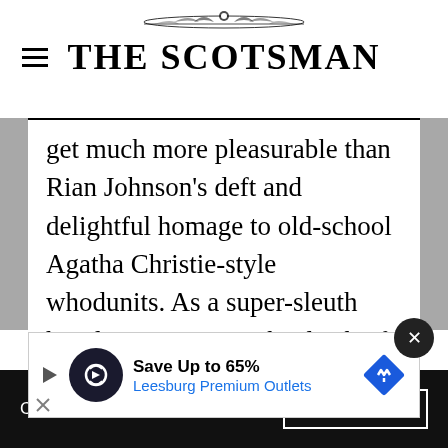THE SCOTSMAN
get much more pleasurable than Rian Johnson's deft and delightful homage to old-school Agatha Christie-style whodunits. As a super-sleuth hired to investigate the death of a wealthy crime writer, Daniel Craig was an absolute blast. It's also hard not to love a mystery movie that can feature a character who vomits at the thought of lying – and serve up a trenchant take down of Make-America-Great-Again-style thinking
[Figure (other): Advertisement banner: Save Up to 65% Leesburg Premium Outlets]
Claim free festival tickets   Find out more